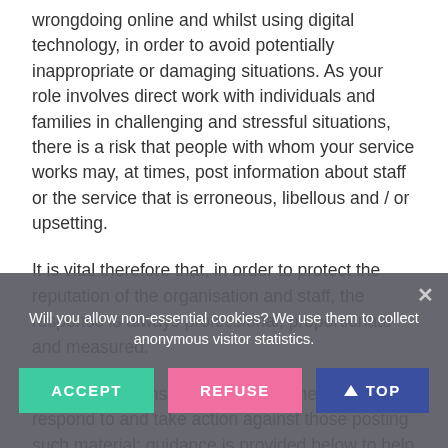wrongdoing online and whilst using digital technology, in order to avoid potentially inappropriate or damaging situations. As your role involves direct work with individuals and families in challenging and stressful situations, there is a risk that people with whom your service works may, at times, post information about staff or the service that is erroneous, libellous and / or upsetting.
It is vital therefore that, in order to protect the reputation of the organisation and staff, the response is always professional, proportionate and measured.
In such situations, managers may need to respond to and take action against those posting such material; guidance is provided below to help protect all staff and volunteers working with the public.
Will you allow non-essential cookies? We use them to collect anonymous visitor statistics.